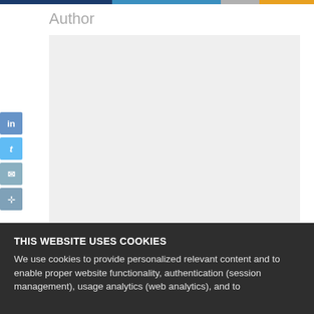Author
[Figure (illustration): Author profile card placeholder with gray background and social media icons (LinkedIn, Twitter, Email, Link) on the left side]
THIS WEBSITE USES COOKIES
We use cookies to provide personalized relevant content and to enable proper website functionality, authentication (session management), usage analytics (web analytics), and to